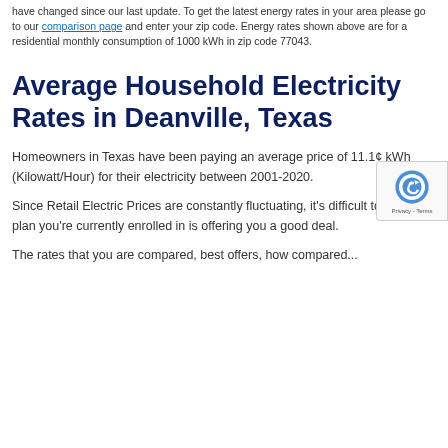have changed since our last update. To get the latest energy rates in your area please go to our comparison page and enter your zip code. Energy rates shown above are for a residential monthly consumption of 1000 kWh in zip code 77043.
Average Household Electricity Rates in Deanville, Texas
Homeowners in Texas have been paying an average price of 11.1¢ kWh (Kilowatt/Hour) for their electricity between 2001-2020.
Since Retail Electric Prices are constantly fluctuating, it's difficult to tell if the plan you're currently enrolled in is offering you a good deal.
The rates that you are paying offered by your plan are compared